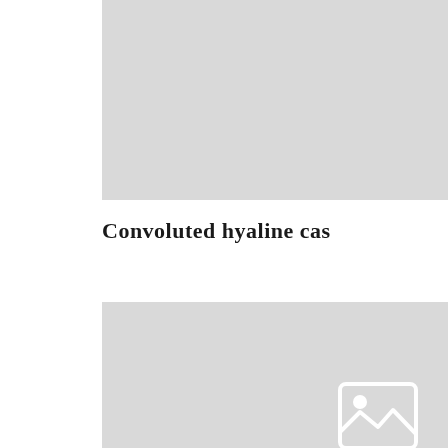[Figure (photo): Medical/histological image placeholder - top portion, cropped at top of page]
Convoluted hyaline cas
[Figure (photo): Medical/histological image placeholder - bottom large image with image placeholder icon]